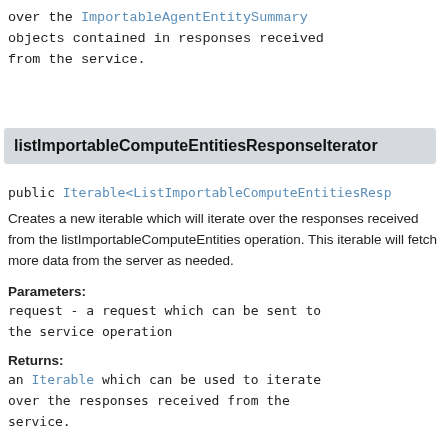over the ImportableAgentEntitySummary objects contained in responses received from the service.
listImportableComputeEntitiesResponseIterator
public Iterable<ListImportableComputeEntitiesResp
Creates a new iterable which will iterate over the responses received from the listImportableComputeEntities operation. This iterable will fetch more data from the server as needed.
Parameters:
request - a request which can be sent to the service operation
Returns:
an Iterable which can be used to iterate over the responses received from the service.